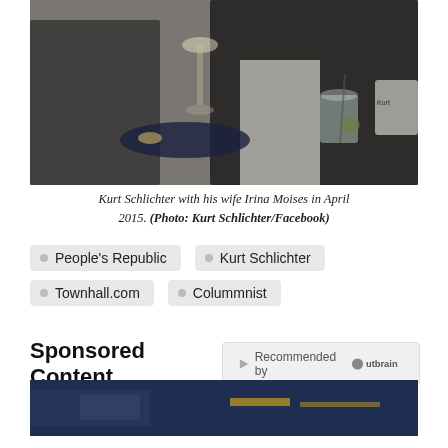[Figure (photo): Kurt Schlichter with his wife Irina Moises at an event in April 2015, standing at a table with drinks]
Kurt Schlichter with his wife Irina Moises in April 2015. (Photo: Kurt Schlichter/Facebook)
People's Republic
Kurt Schlichter
Townhall.com
Colummnist
Sponsored Content
Recommended by Outbrain
[Figure (photo): Partial image at bottom of page, dark blue background visible]